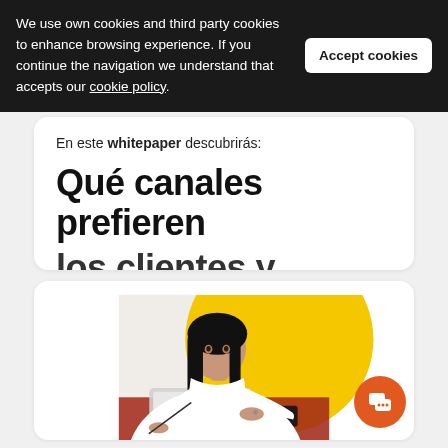We use own cookies and third party cookies to enhance browsing experience. If you continue the navigation we understand that accepts our cookie policy.
Accept cookies
En este whitepaper descubrirás:
Qué canales prefieren los clientes y porqué
[Figure (photo): Woman with dark hair wearing a white shirt, writing with a stylus on a tablet. A smartphone is visible on the table. Yellow circular background behind her.]